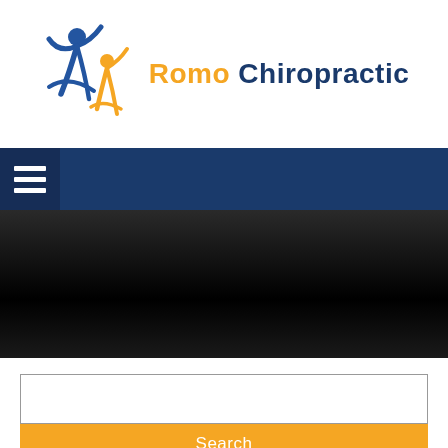[Figure (logo): Romo Chiropractic logo with two stylized figures in blue and orange, and text 'Romo Chiropractic' in orange and dark blue]
[Figure (screenshot): Dark navy blue navigation bar with hamburger menu icon on left]
[Figure (photo): Dark black to dark gray banner area, appears to be a hero image placeholder]
[Figure (screenshot): Search box with white input field and orange Search button below]